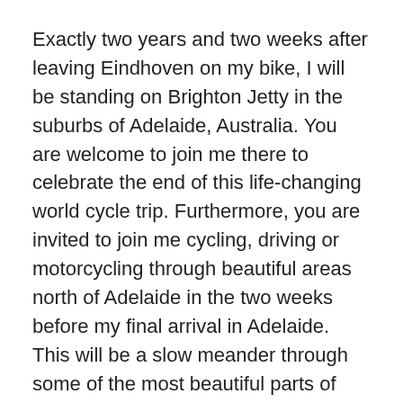Exactly two years and two weeks after leaving Eindhoven on my bike, I will be standing on Brighton Jetty in the suburbs of Adelaide, Australia. You are welcome to join me there to celebrate the end of this life-changing world cycle trip. Furthermore, you are invited to join me cycling, driving or motorcycling through beautiful areas north of Adelaide in the two weeks before my final arrival in Adelaide. This will be a slow meander through some of the most beautiful parts of Australia at a pace that everyone can keep up with, and enjoy!
More keen travellers are welcome to join me earlier, travelling at a faster pace.
Dates:
September 14, 2016: Start meander to Adelaide at Wilpena Pound...